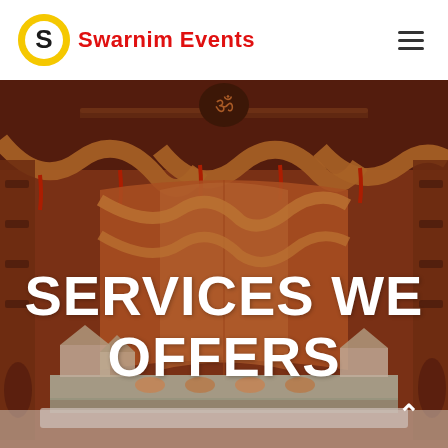[Figure (logo): Swarnim Events logo: circular yellow and black S-shaped emblem]
Swarnim Events
[Figure (photo): Wedding venue photograph showing an ornate stage decorated with orange and gold draped curtains, floral decorations, and traditional Indian wedding mandap setup]
SERVICES WE OFFERS